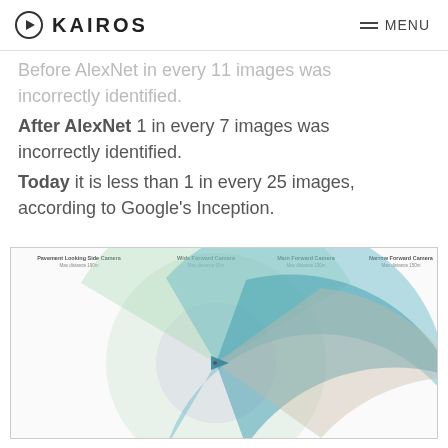KAIROS — MENU
Before AlexNet in every 11 images was incorrectly identified.
After AlexNet 1 in every 7 images was incorrectly identified.
Today it is less than 1 in every 25 images, according to Google's Inception.
[Figure (engineering-diagram): Radar/fan diagram showing camera fields of view: Pavement Looking Side Camera (Max distance 190m), Wide Forward Camera (Max distance 60m), Main Forward Camera (Max distance 150m), Narrow Forward Camera (Max distance 150m). Multiple overlapping fan-shaped sectors in light green, light blue, teal, and beige colors radiating from a central point.]